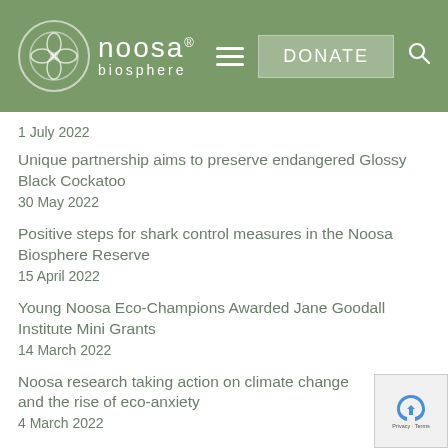noosa biosphere — DONATE
1 July 2022
Unique partnership aims to preserve endangered Glossy Black Cockatoo
30 May 2022
Positive steps for shark control measures in the Noosa Biosphere Reserve
15 April 2022
Young Noosa Eco-Champions Awarded Jane Goodall Institute Mini Grants
14 March 2022
Noosa research taking action on climate change and the rise of eco-anxiety
4 March 2022